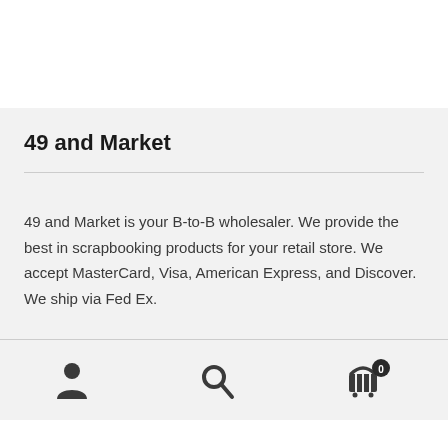49 and Market
49 and Market is your B-to-B wholesaler. We provide the best in scrapbooking products for your retail store. We accept MasterCard, Visa, American Express, and Discover. We ship via Fed Ex.
[Figure (infographic): Bottom navigation bar with three icons: user/person icon, search/magnifying glass icon, and shopping cart icon with badge showing 0]